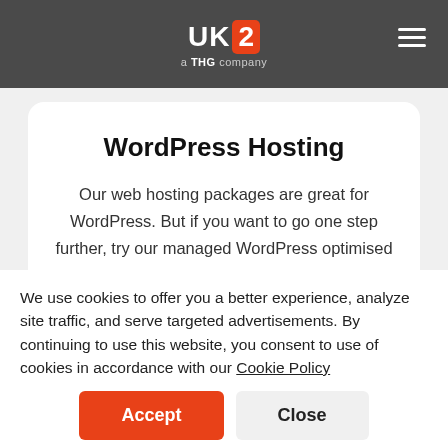UK2 a THG company
WordPress Hosting
Our web hosting packages are great for WordPress. But if you want to go one step further, try our managed WordPress optimised platform which lets you focus on growing your business,
We use cookies to offer you a better experience, analyze site traffic, and serve targeted advertisements. By continuing to use this website, you consent to use of cookies in accordance with our Cookie Policy
Accept
Close